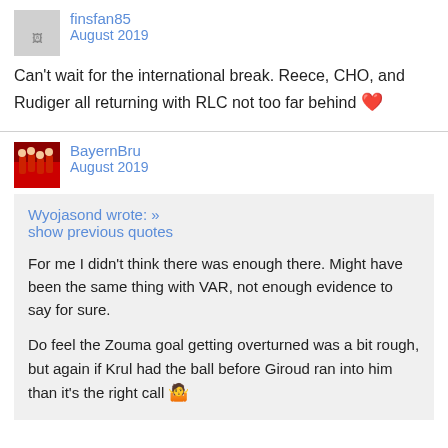finsfan85
finsfan85
August 2019
Can't wait for the international break. Reece, CHO, and Rudiger all returning with RLC not too far behind ❤️
BayernBru
August 2019
Wyojasond wrote: »
show previous quotes

For me I didn't think there was enough there. Might have been the same thing with VAR, not enough evidence to say for sure.

Do feel the Zouma goal getting overturned was a bit rough, but again if Krul had the ball before Giroud ran into him than it's the right call 🤷